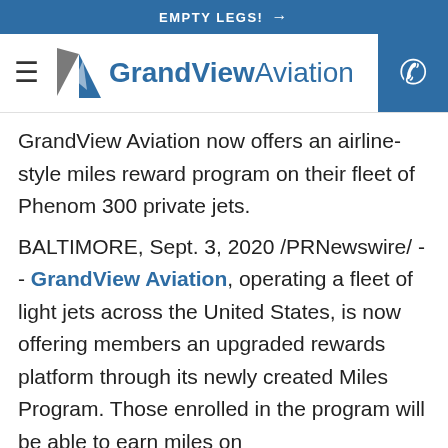EMPTY LEGS! →
[Figure (logo): GrandView Aviation logo with triangular grey and blue arrow mark, hamburger menu icon on left, blue phone button on right]
GrandView Aviation now offers an airline-style miles reward program on their fleet of Phenom 300 private jets.
BALTIMORE, Sept. 3, 2020 /PRNewswire/ -- GrandView Aviation, operating a fleet of light jets across the United States, is now offering members an upgraded rewards platform through its newly created Miles Program. Those enrolled in the program will be able to earn miles on